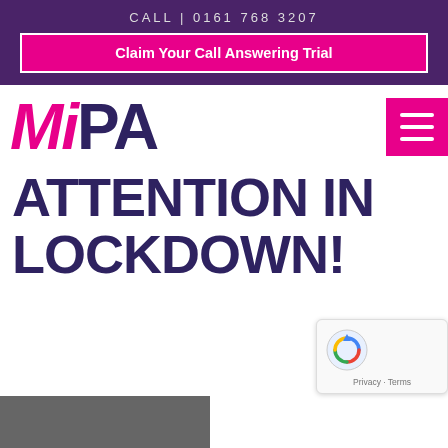CALL | 0161 768 3207
Claim Your Call Answering Trial
[Figure (logo): MiPA logo — 'Mi' in pink italic, 'PA' in dark purple bold, with a pink dot over the 'i']
[Figure (other): Pink hamburger menu button with three white horizontal lines]
ATTENTION IN LOCKDOWN!
[Figure (other): reCAPTCHA widget showing recycling arrows icon with Privacy - Terms text below]
[Figure (photo): Partial image strip at bottom of page]